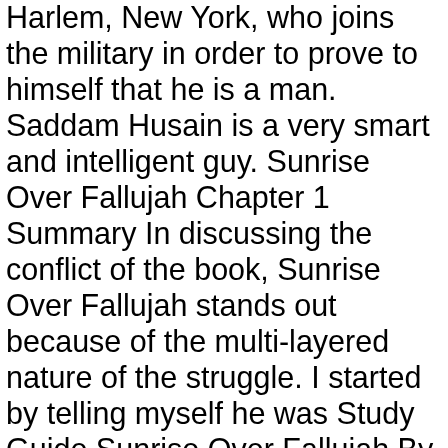Harlem, New York, who joins the military in order to prove to himself that he is a man. Saddam Husain is a very smart and intelligent guy. Sunrise Over Fallujah Chapter 1 Summary In discussing the conflict of the book, Sunrise Over Fallujah stands out because of the multi-layered nature of the struggle. I started by telling myself he was Study Guide Sunrise Over Fallujah By Walter Dean Myers Supersummary . Walter Dean Myers. Share to Twitter Share to Facebook Share to Pinterest. The war action did not seem as intense as in its predecessor Fallen Angels, but all in all I thought that Sunrise Over Fallujah was a better story. —Sunrise Over Fallujah, P. 125 This book really is tremendously impactful, and the story has reverberated in my mind long after I turned the final page. Read PDF Sunrise Over Fallujah By Walter Dean Myers L Summary Study Guide to provide, you can along with locate other book collections. He names all the members of the civil affairs team. And now, your get older to get this sunrise over